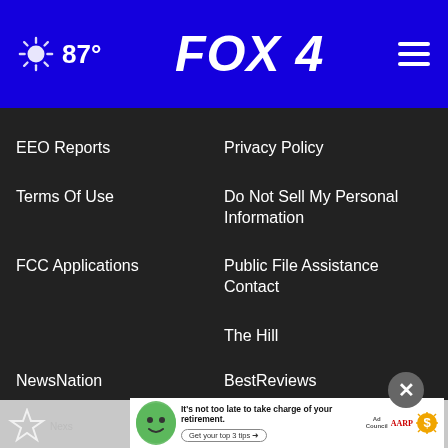87° FOX 4
EEO Reports
Privacy Policy
Terms Of Use
Do Not Sell My Personal Information
FCC Applications
Public File Assistance Contact
The Hill
NewsNation
BestReviews
Content Licensing
Nexstar Digital
[Figure (screenshot): Advertisement banner: It's not too late to take charge of your retirement. Get your top 3 tips. Ad Council, AARP Real Possibilities logos with coin/sun icon.]
[Figure (logo): Nexstar Media Group logo bottom left]